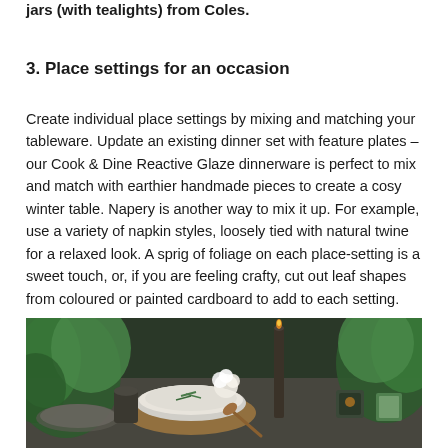jars (with tealights) from Coles.
3. Place settings for an occasion
Create individual place settings by mixing and matching your tableware. Update an existing dinner set with feature plates – our Cook & Dine Reactive Glaze dinnerware is perfect to mix and match with earthier handmade pieces to create a cosy winter table. Napery is another way to mix it up. For example, use a variety of napkin styles, loosely tied with natural twine for a relaxed look. A sprig of foliage on each place-setting is a sweet touch, or, if you are feeling crafty, cut out leaf shapes from coloured or painted cardboard to add to each setting.
[Figure (photo): A styled dinner table setting with a white bowl of soup garnished with herbs, candles, green plants and foliage, glassware, and dark earthy tableware in a cosy winter setting.]